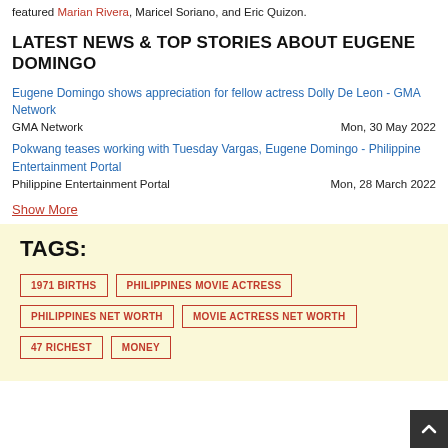featured Marian Rivera, Maricel Soriano, and Eric Quizon.
LATEST NEWS & TOP STORIES ABOUT EUGENE DOMINGO
Eugene Domingo shows appreciation for fellow actress Dolly De Leon - GMA Network
GMA Network   Mon, 30 May 2022
Pokwang teases working with Tuesday Vargas, Eugene Domingo - Philippine Entertainment Portal
Philippine Entertainment Portal   Mon, 28 March 2022
Show More
TAGS:
1971 BIRTHS
PHILIPPINES MOVIE ACTRESS
PHILIPPINES NET WORTH
MOVIE ACTRESS NET WORTH
47 RICHEST
MONEY